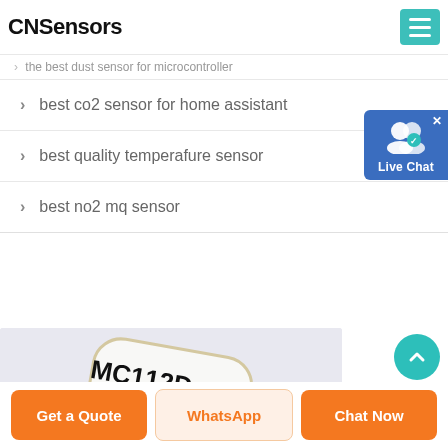CNSensors
the best dust sensor for microcontroller
best co2 sensor for home assistant
best quality temperafure sensor
best no2 mq sensor
[Figure (photo): Product photo of MC112D sensor module on light purple/grey background]
Get a Quote
WhatsApp
Chat Now